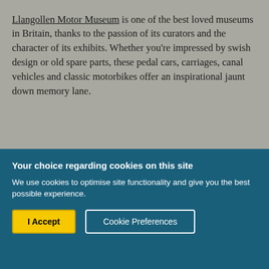Llangollen Motor Museum is one of the best loved museums in Britain, thanks to the passion of its curators and the character of its exhibits. Whether you're impressed by swish design or old spare parts, these pedal cars, carriages, canal vehicles and classic motorbikes offer an inspirational jaunt down memory lane.
Your choice regarding cookies on this site
We use cookies to optimise site functionality and give you the best possible experience.